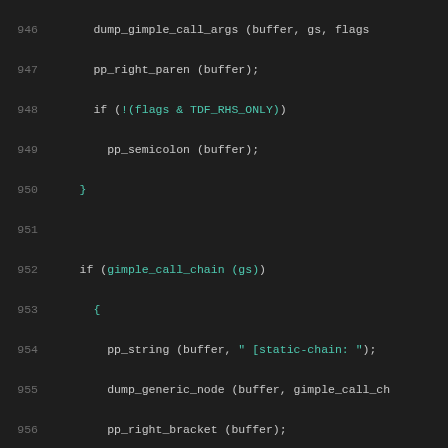[Figure (screenshot): Source code listing showing C code lines 946-967 with syntax highlighting on dark background. Line numbers in gray on left, keywords/identifiers in white/teal.]